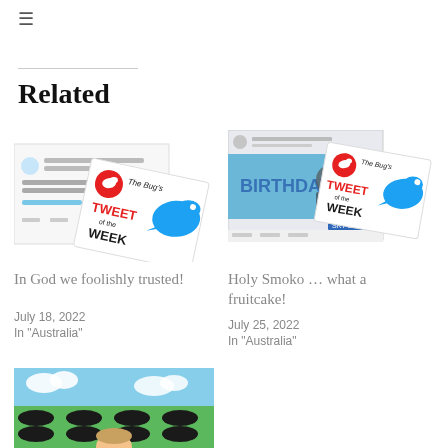≡
Related
[Figure (screenshot): Tweet of the Week card with a Twitter screenshot showing God/Trains tweet and The Bug's TWEET of the WEEK badge with Twitter bird logo]
In God we foolishly trusted!
July 18, 2022
In "Australia"
[Figure (screenshot): Tweet of the Week card with a screenshot of a man at a BIRTHDAY podium and The Bug's TWEET of the WEEK badge with Twitter bird logo]
Holy Smoko … what a fruitcake!
July 25, 2022
In "Australia"
[Figure (screenshot): Bottom of page third article card showing a cartoon green field with black holes and a person's head at the bottom]